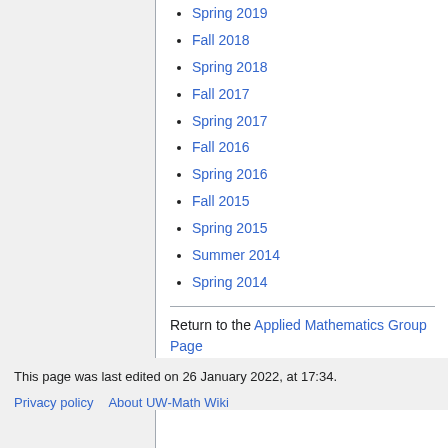Spring 2019
Fall 2018
Spring 2018
Fall 2017
Spring 2017
Fall 2016
Spring 2016
Fall 2015
Spring 2015
Summer 2014
Spring 2014
Return to the Applied Mathematics Group Page
This page was last edited on 26 January 2022, at 17:34.
Privacy policy  About UW-Math Wiki